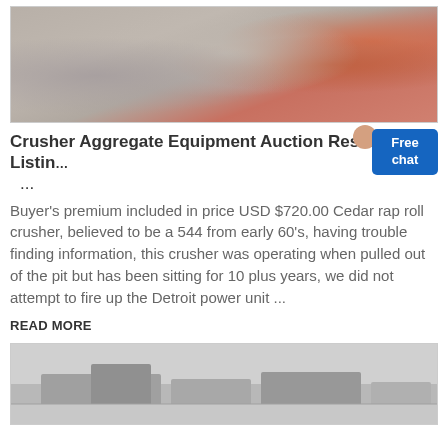[Figure (photo): Pile of crushed rock and aggregate material, showing grey and orange/red stones]
Crusher Aggregate Equipment Auction Results - 23 Listin...
...
Buyer's premium included in price USD $720.00 Cedar rap roll crusher, believed to be a 544 from early 60's, having trouble finding information, this crusher was operating when pulled out of the pit but has been sitting for 10 plus years, we did not attempt to fire up the Detroit power unit ...
READ MORE
[Figure (photo): Industrial crusher/aggregate equipment at a quarry site, grey tones]